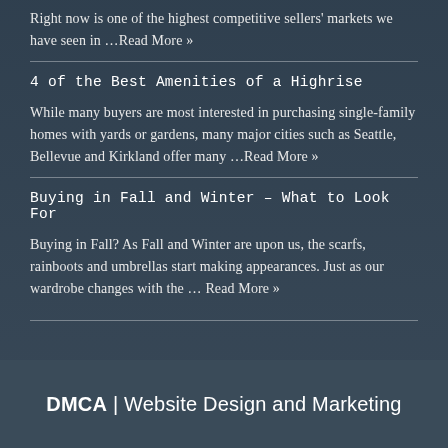Right now is one of the highest competitive sellers' markets we have seen in …Read More »
4 of the Best Amenities of a Highrise
While many buyers are most interested in purchasing single-family homes with yards or gardens, many major cities such as Seattle, Bellevue and Kirkland offer many …Read More »
Buying in Fall and Winter – What to Look For
Buying in Fall? As Fall and Winter are upon us, the scarfs, rainboots and umbrellas start making appearances. Just as our wardrobe changes with the … Read More »
DMCA | Website Design and Marketing